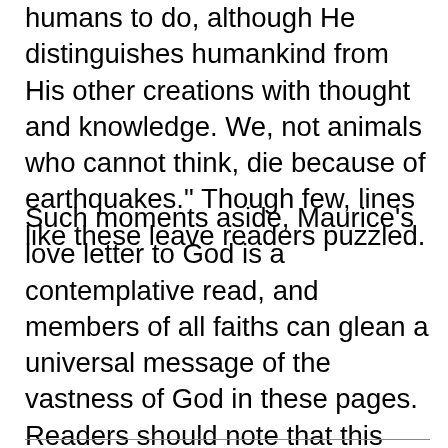humans to do, although He distinguishes humankind from His other creations with thought and knowledge. We, not animals who cannot think, die because of earthquakes." Though few, lines like these leave readers puzzled.
Such moments aside, Maurice's love letter to God is a contemplative read, and members of all faiths can glean a universal message of the vastness of God in these pages. Readers should note that this book is a bilingual edition in English and German.